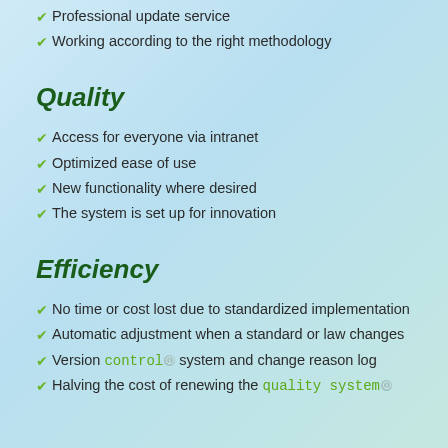Professional update service
Working according to the right methodology
Quality
Access for everyone via intranet
Optimized ease of use
New functionality where desired
The system is set up for innovation
Efficiency
No time or cost lost due to standardized implementation
Automatic adjustment when a standard or law changes
Version control system and change reason log
Halving the cost of renewing the quality system